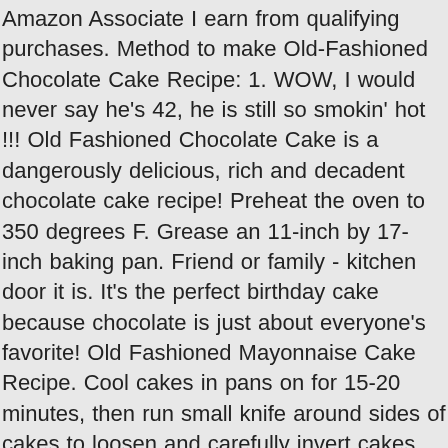Amazon Associate I earn from qualifying purchases. Method to make Old-Fashioned Chocolate Cake Recipe: 1. WOW, I would never say he's 42, he is still so smokin' hot !!! Old Fashioned Chocolate Cake is a dangerously delicious, rich and decadent chocolate cake recipe! Preheat the oven to 350 degrees F. Grease an 11-inch by 17-inch baking pan. Friend or family - kitchen door it is. It's the perfect birthday cake because chocolate is just about everyone's favorite! Old Fashioned Mayonnaise Cake Recipe. Cool cakes in pans on for 15-20 minutes, then run small knife around sides of cakes to loosen and carefully invert cakes onto racks to cool completely. (If using round cake pans, line the bottom of each pan with parchment paper.) ; In a medium bowl combine the flour, baking soda and salt and set aside. I just made the cake, and it's been a very long time since I made a scratch cake. If so, it must really taste chocolaty -- YUM!!! Add egg, one at a time, and beat well after each. Add oil, buttermilk, eggs, vanilla, hot water and mix well. The easiest explanation of this chocolate dream is that itNNNs simply an old-fashioned sheet cake.